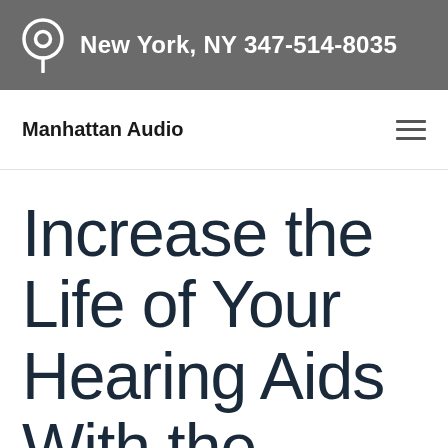New York, NY 347-514-8035
Manhattan Audio
Increase the Life of Your Hearing Aids With the